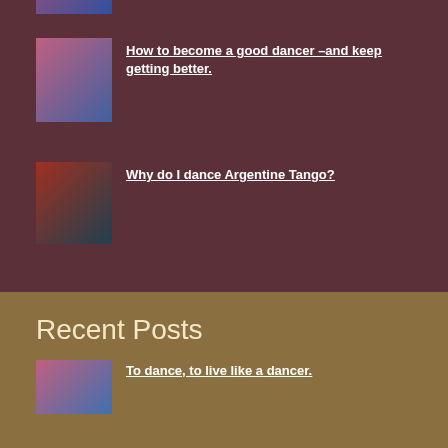[Figure (photo): Cropped photo of a dancer at the top of the dark red section]
How to become a good dancer –and keep getting better.
Why do I dance Argentine Tango?
Recent Posts
To dance, to live like a dancer.